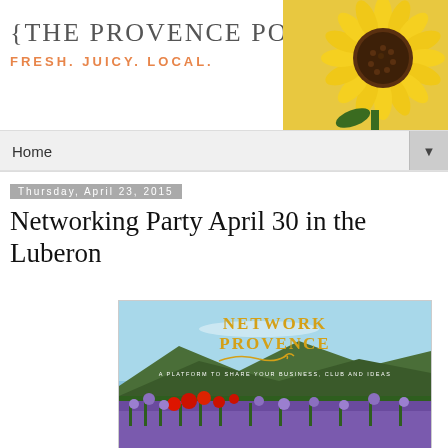{THE PROVENCE POST} FRESH. JUICY. LOCAL.
[Figure (photo): Sunflower close-up photo in top right corner of header]
Home
Thursday, April 23, 2015
Networking Party April 30 in the Luberon
[Figure (photo): Network Provence event promotional image showing purple wildflowers and red poppies in a Provencal landscape with mountains and blue sky. Text overlay reads: NETWORK PROVENCE - A PLATFORM TO SHARE YOUR BUSINESS, CLUB AND IDEAS]